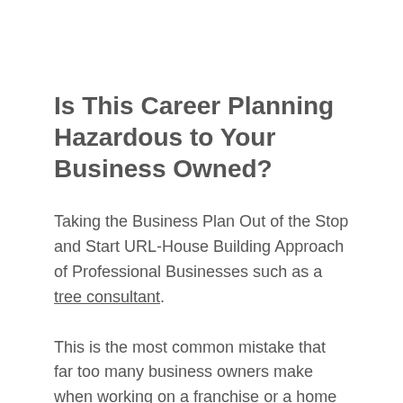Is This Career Planning Hazardous to Your Business Owned?
Taking the Business Plan Out of the Stop and Start URL-House Building Approach of Professional Businesses such as a tree consultant.
This is the most common mistake that far too many business owners make when working on a franchise or a home based business. You think you have big visions for your business. Or its time to go after bigger goals. After all, " If I become a millionaire then I can just spend my money and it'll all be back to pay me back."
Big Business Owners Buy Their Way to